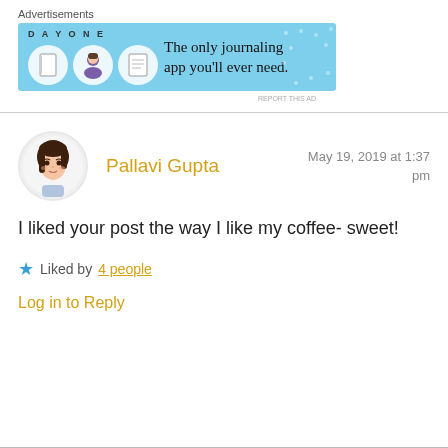Advertisements
[Figure (other): DayOne journaling app advertisement banner. Blue background with cartoon icons of a journal, person, and notebook. Text reads: DAYONE – The only journaling app you'll ever need.]
REPORT THIS AD
Pallavi Gupta
May 19, 2019 at 1:37 pm
I liked your post the way I like my coffee- sweet!
★ Liked by 4 people
Log in to Reply